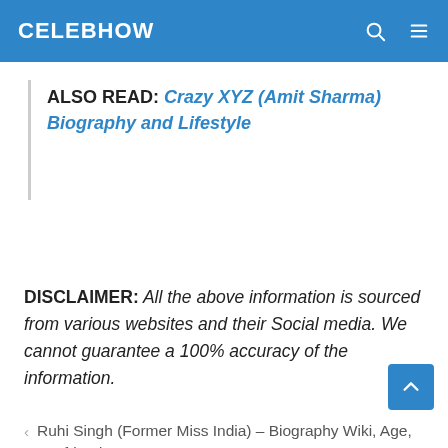CELEBHOW
ALSO READ: Crazy XYZ (Amit Sharma) Biography and Lifestyle
DISCLAIMER: All the above information is sourced from various websites and their Social media. We cannot guarantee a 100% accuracy of the information.
< Ruhi Singh (Former Miss India) – Biography Wiki, Age, Boyfriend & More
> Rohanpreet Singh Full Biography Wife Affairs